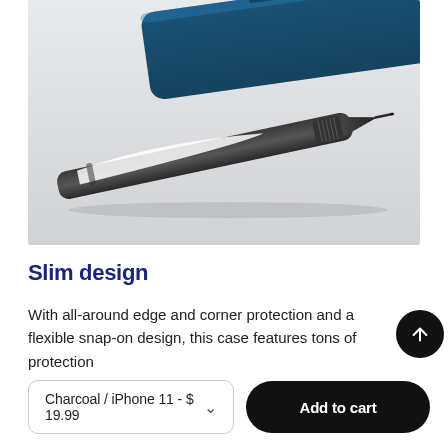[Figure (photo): Close-up photo of a dark pen with white accent stripe and fine tip, resting diagonally in front of a navy blue phone case on a light gray surface.]
Slim design
With all-around edge and corner protection and a flexible snap-on design, this case features tons of protection
Charcoal / iPhone 11 - $ 19.99
Add to cart